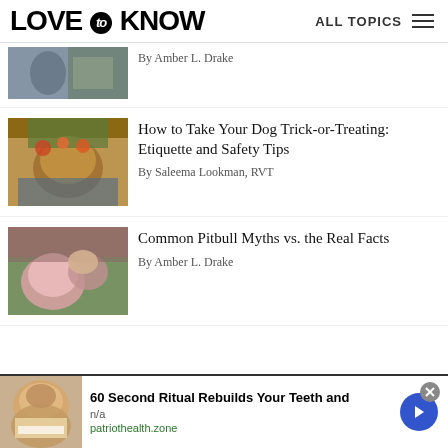LOVE to KNOW — ALL TOPICS
[Figure (photo): Partial image of person with cat/animal, top of page]
By Amber L. Drake
[Figure (photo): Dog dressed in Halloween costume with flowers/decorations]
How to Take Your Dog Trick-or-Treating: Etiquette and Safety Tips
By Saleema Lookman, RVT
[Figure (photo): Woman kissing a pitbull dog]
Common Pitbull Myths vs. the Real Facts
By Amber L. Drake
[Figure (photo): Advertisement image: man with wide-open mouth showing teeth]
60 Second Ritual Rebuilds Your Teeth and
n/a
patriothealth.zone